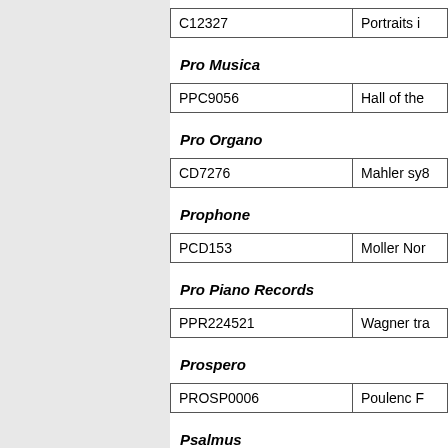| C12327 | Portraits i... |
Pro Musica
| PPC9056 | Hall of the... |
Pro Organo
| CD7276 | Mahler sy8... |
Prophone
| PCD153 | Moller Nor... |
Pro Piano Records
| PPR224521 | Wagner tra... |
Prospero
| PROSP0006 | Poulenc F... |
Psalmus
| PSAL006 | Eben Joh... |